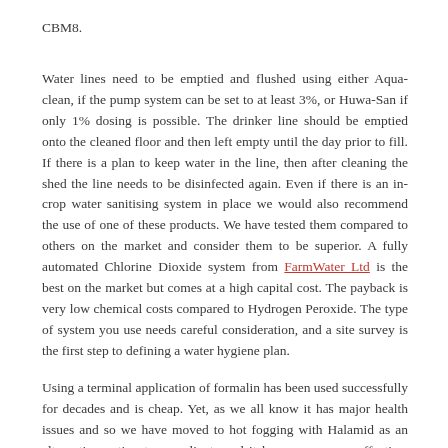CBM8.
Water lines need to be emptied and flushed using either Aqua-clean, if the pump system can be set to at least 3%, or Huwa-San if only 1% dosing is possible. The drinker line should be emptied onto the cleaned floor and then left empty until the day prior to fill. If there is a plan to keep water in the line, then after cleaning the shed the line needs to be disinfected again. Even if there is an in-crop water sanitising system in place we would also recommend the use of one of these products. We have tested them compared to others on the market and consider them to be superior. A fully automated Chlorine Dioxide system from FarmWater Ltd is the best on the market but comes at a high capital cost. The payback is very low chemical costs compared to Hydrogen Peroxide. The type of system you use needs careful consideration, and a site survey is the first step to defining a water hygiene plan.
Using a terminal application of formalin has been used successfully for decades and is cheap. Yet, as we all know it has major health issues and so we have moved to hot fogging with Halamid as an alternative option to our clients and it has proven very effective. This is a service